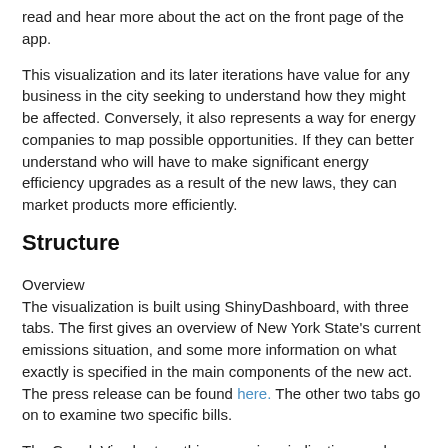read and hear more about the act on the front page of the app.
This visualization and its later iterations have value for any business in the city seeking to understand how they might be affected. Conversely, it also represents a way for energy companies to map possible opportunities. If they can better understand who will have to make significant energy efficiency upgrades as a result of the new laws, they can market products more efficiently.
Structure
Overview
The visualization is built using ShinyDashboard, with three tabs. The first gives an overview of New York State's current emissions situation, and some more information on what exactly is specified in the main components of the new act. The press release can be found here. The other two tabs go on to examine two specific bills.
The GoogleVis chart on this page gives indicative numbers for where New York State's emissions have come from, and where current plans might mean they come from in the future – the data for this comes from the State's Department of Environmental Conservation. Here I have included fossil fuel combustion in residential, commercial or industrial